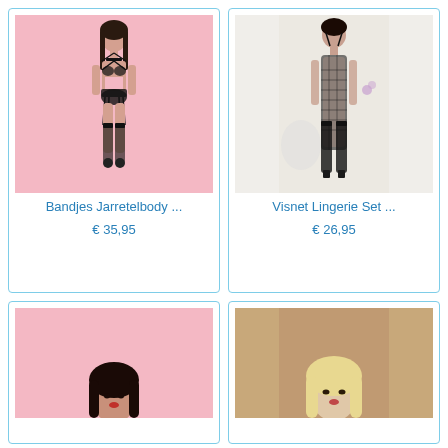[Figure (photo): Woman wearing black strappy lace jarretel body lingerie set on pink background]
Bandjes Jarretelbody ...
€ 35,95
[Figure (photo): Woman wearing black fishnet lingerie body stocking set with stockings on white background]
Visnet Lingerie Set ...
€ 26,95
[Figure (photo): Woman with dark hair on pink background, partial view, bottom product card]
[Figure (photo): Blonde woman on warm brown/brick background, partial view, bottom product card]